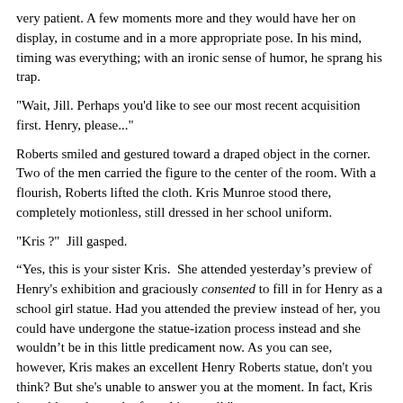very patient. A few moments more and they would have her on display, in costume and in a more appropriate pose. In his mind, timing was everything; with an ironic sense of humor, he sprang his trap.
"Wait, Jill. Perhaps you'd like to see our most recent acquisition first. Henry, please..."
Roberts smiled and gestured toward a draped object in the corner. Two of the men carried the figure to the center of the room. With a flourish, Roberts lifted the cloth. Kris Munroe stood there, completely motionless, still dressed in her school uniform.
"Kris ?"  Jill gasped.
“Yes, this is your sister Kris.  She attended yesterday’s preview of Henry's exhibition and graciously consented to fill in for Henry as a school girl statue. Had you attended the preview instead of her, you could have undergone the statue-ization process instead and she wouldn’t be in this little predicament now. As you can see, however, Kris makes an excellent Henry Roberts statue, don't you think? But she's unable to answer you at the moment. In fact, Kris is unable to do much of anything at all."
Jill looked incredulously at her stiffened, waxwork-like sister. Now she understood what had happened; why Kris hadn’t returned her